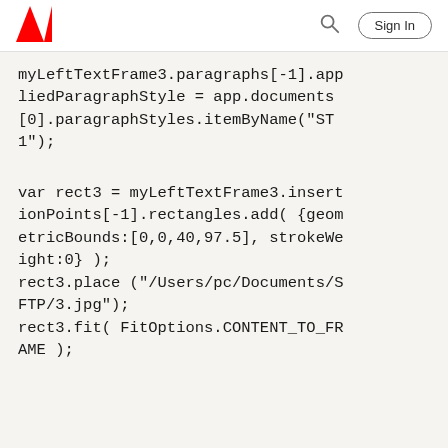Adobe | Sign In
myLeftTextFrame3.paragraphs[-1].appliedParagraphStyle = app.documents[0].paragraphStyles.itemByName("ST1");
var rect3 = myLeftTextFrame3.insertionPoints[-1].rectangles.add( {geometricBounds:[0,0,40,97.5], strokeWeight:0} );
rect3.place ("/Users/pc/Documents/SFTP/3.jpg");
rect3.fit( FitOptions.CONTENT_TO_FRAME );